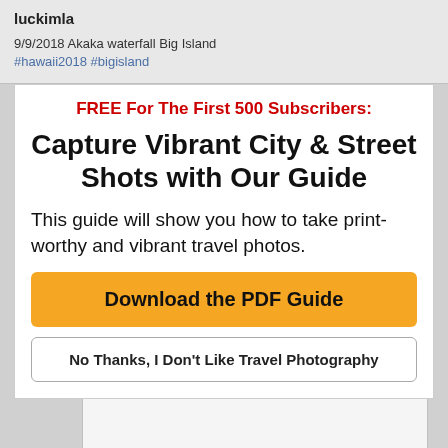luckimla
9/9/2018 Akaka waterfall Big Island #hawaii2018 #bigisland
FREE For The First 500 Subscribers:
Capture Vibrant City & Street Shots with Our Guide
This guide will show you how to take print-worthy and vibrant travel photos.
Download the PDF Guide
No Thanks, I Don't Like Travel Photography